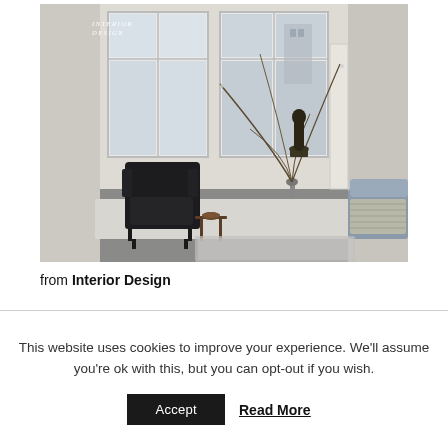[Figure (photo): Interior design photo of a minimalist living room with large windows, a black leather armchair, a small side table with a bowl, bare branch arrangement in a vase, a dark sculptural figure on the windowsill, and a partial view of a light blue sofa. The room has light walls, a grey floor, and a white rug. A small 'Interior Design' logo/watermark appears in the top left corner of the image.]
from Interior Design
This website uses cookies to improve your experience. We'll assume you're ok with this, but you can opt-out if you wish.
Accept   Read More